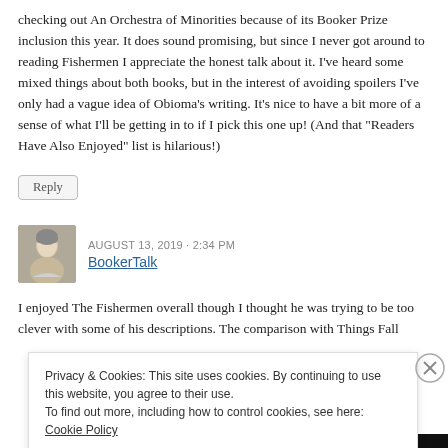checking out An Orchestra of Minorities because of its Booker Prize inclusion this year. It does sound promising, but since I never got around to reading Fishermen I appreciate the honest talk about it. I’ve heard some mixed things about both books, but in the interest of avoiding spoilers I’ve only had a vague idea of Obioma’s writing. It’s nice to have a bit more of a sense of what I’ll be getting in to if I pick this one up! (And that “Readers Have Also Enjoyed” list is hilarious!)
Reply
AUGUST 13, 2019 · 2:34 PM
BookerTalk
I enjoyed The Fishermen overall though I thought he was trying to be too clever with some of his descriptions. The comparison with Things Fall
Privacy & Cookies: This site uses cookies. By continuing to use this website, you agree to their use.
To find out more, including how to control cookies, see here: Cookie Policy
Close and accept